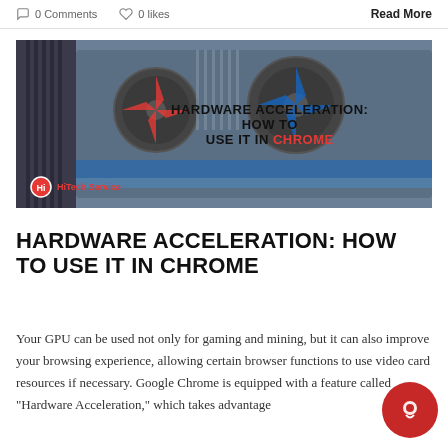0 Comments   0 likes   Read More
[Figure (photo): A photo of a GPU/graphics card with red fans and blue lighting, overlaid with bold text reading 'HARDWARE ACCELERATION: HOW TO USE IT IN CHROME' and a HiTech Service logo badge in the bottom left.]
HARDWARE ACCELERATION: HOW TO USE IT IN CHROME
Your GPU can be used not only for gaming and mining, but it can also improve your browsing experience, allowing certain browser functions to use video card resources if necessary. Google Chrome is equipped with a feature called "Hardware Acceleration," which takes advantage